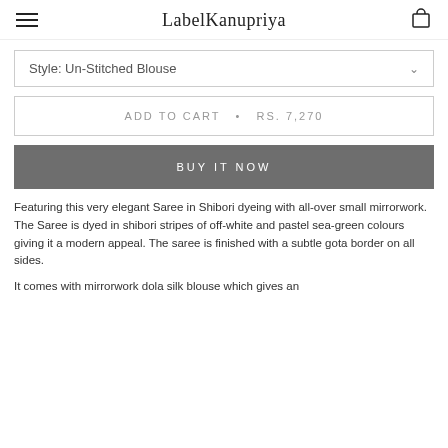LabelKanupriya
Style: Un-Stitched Blouse
ADD TO CART  •  RS. 7,270
BUY IT NOW
Featuring this very elegant Saree in Shibori dyeing with all-over small mirrorwork. The Saree is dyed in shibori stripes of off-white and pastel sea-green colours giving it a modern appeal. The saree is finished with a subtle gota border on all sides.
It comes with mirrorwork dola silk blouse which gives an